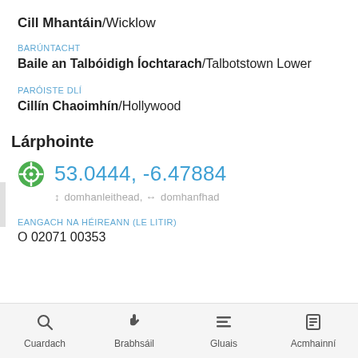Cill Mhantáin/Wicklow
BARÚNTACHT
Baile an Talbóidigh Íochtarach/Talbotstown Lower
PARÓISTE DLÍ
Cillín Chaoimhín/Hollywood
Lárphointe
53.0444, -6.47884
↕ domhanleithead, ↔ domhanfhad
EANGACH NA hÉIREANN (LE LITIR)
O 02071 00353
Cuardach  Brabhsáil  Gluais  Acmhainní